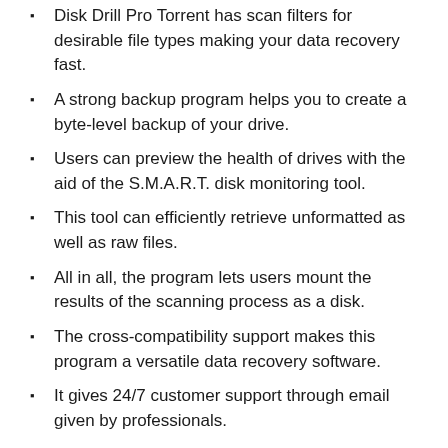Disk Drill Pro Torrent has scan filters for desirable file types making your data recovery fast.
A strong backup program helps you to create a byte-level backup of your drive.
Users can preview the health of drives with the aid of the S.M.A.R.T. disk monitoring tool.
This tool can efficiently retrieve unformatted as well as raw files.
All in all, the program lets users mount the results of the scanning process as a disk.
The cross-compatibility support makes this program a versatile data recovery software.
It gives 24/7 customer support through email given by professionals.
Some extra benefits of Disk Drill Pro 2022 Crack:
Save and secure your vital data from accidental loss of